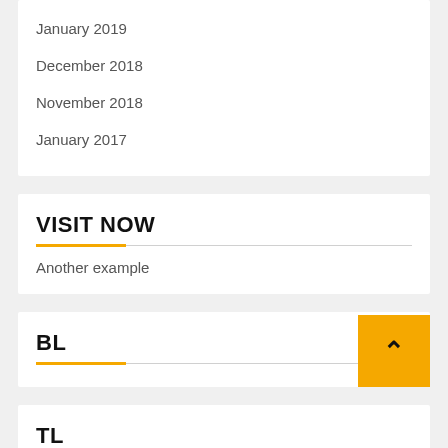January 2019
December 2018
November 2018
January 2017
VISIT NOW
Another example
BL
TL